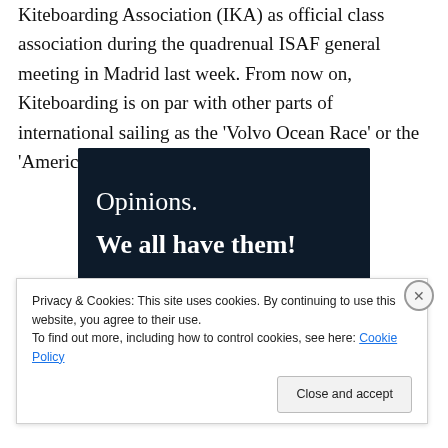Kiteboarding Association (IKA) as official class association during the quadrenual ISAF general meeting in Madrid last week. From now on, Kiteboarding is on par with other parts of international sailing as the 'Volvo Ocean Race' or the 'Americas Cup'.
[Figure (other): Advertisement banner with dark navy background showing text 'Opinions. We all have them!' in white, with a pink button and circular element partially visible.]
Privacy & Cookies: This site uses cookies. By continuing to use this website, you agree to their use.
To find out more, including how to control cookies, see here: Cookie Policy
Close and accept